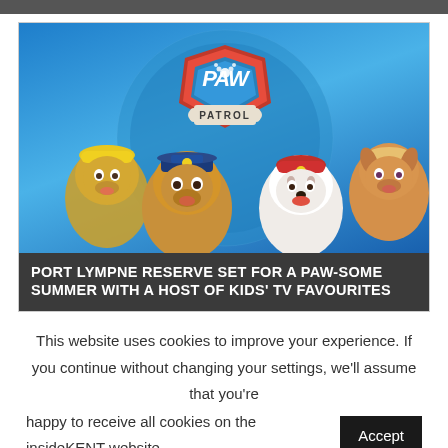[Figure (illustration): PAW Patrol promotional image showing the PAW Patrol logo with animated dog characters Rubble, Chase, Marshall, and Skye against a blue circular background]
PORT LYMPNE RESERVE SET FOR A PAW-SOME SUMMER WITH A HOST OF KIDS' TV FAVOURITES
This website uses cookies to improve your experience. If you continue without changing your settings, we'll assume that you're happy to receive all cookies on the insideKENT website.
Accept
Read More